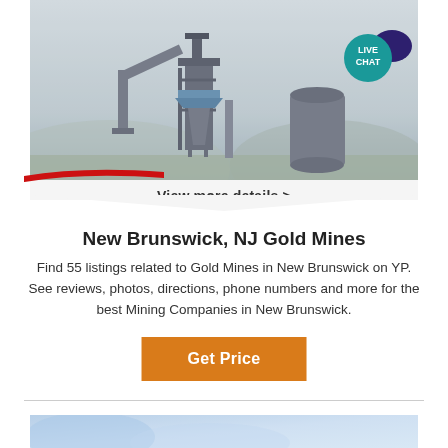[Figure (photo): Mining industrial facility with large structures, conveyor towers and silos in a misty/foggy landscape. Live chat badge in top right corner.]
View more details >
New Brunswick, NJ Gold Mines
Find 55 listings related to Gold Mines in New Brunswick on YP. See reviews, photos, directions, phone numbers and more for the best Mining Companies in New Brunswick.
Get Price
[Figure (photo): Partial blue-toned image at the bottom of the page]